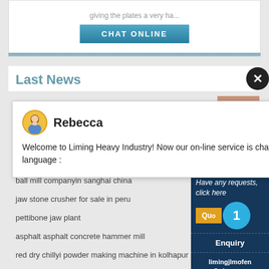giving the plates a very ha...
[Figure (other): CHAT ONLINE button - teal blue gradient button with white text]
Last News
[Figure (screenshot): Chat popup with avatar of Rebecca, text: Welcome to Liming Heavy Industry! Now our on-line service is chatting with you! Please choose the language :]
ball mill companyin sanghai china
jaw stone crusher for sale in peru
pettibone jaw plant
asphalt asphalt concrete hammer mill
red dry chillyi powder making machine in kolhapur
mining mate job vaccancy
crushers parts in kolkata
[Figure (infographic): Dark navy sidebar with: Have any requests, click here, Quote button, badge with 1, Enquiry, limingjlmofen@sina.com]